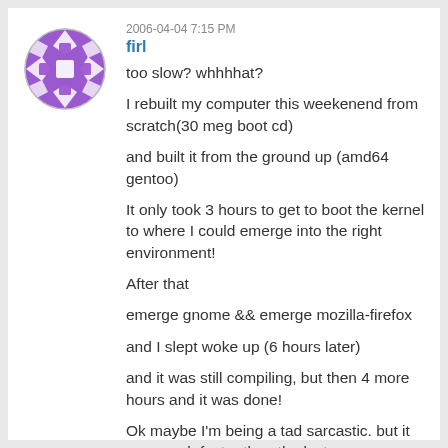[Figure (illustration): Purple circular avatar icon with geometric diamond/star pattern]
2006-04-04 7:15 PM
firl
too slow? whhhhat?
I rebuilt my computer this weekenend from scratch(30 meg boot cd)
and built it from the ground up (amd64 gentoo)
It only took 3 hours to get to boot the kernel to where I could emerge into the right environment!
After that
emerge gnome && emerge mozilla-firefox
and I slept woke up (6 hours later)
and it was still compiling, but then 4 more hours and it was done!
Ok maybe I'm being a tad sarcastic. but it was much faster than the last